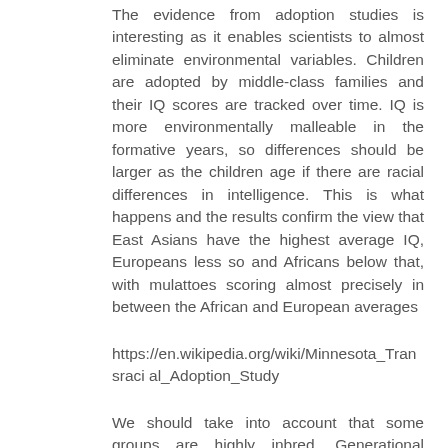The evidence from adoption studies is interesting as it enables scientists to almost eliminate environmental variables. Children are adopted by middle-class families and their IQ scores are tracked over time. IQ is more environmentally malleable in the formative years, so differences should be larger as the children age if there are racial differences in intelligence. This is what happens and the results confirm the view that East Asians have the highest average IQ, Europeans less so and Africans below that, with mulattoes scoring almost precisely in between the African and European averages
https://en.wikipedia.org/wiki/Minnesota_Transracial_Adoption_Study
We should take into account that some groups are highly inbred. Generational cousin marriage is very common in parts of Africa, the Middle-East and sub-Continental Asia and that will undoubtedly have a severely negative effect on their intelligence and health. Pakistanis make up